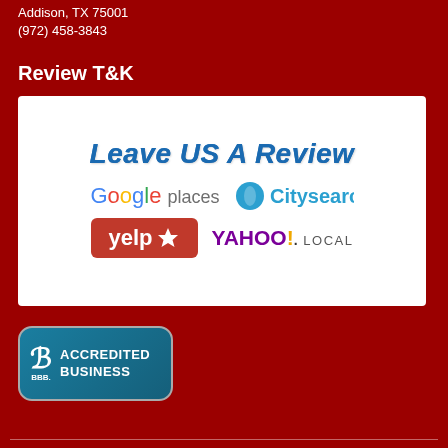Addison, TX 75001
(972) 458-3843
Review T&K
[Figure (infographic): White box with 'Leave US A Review' in blue italic bold text, with logos for Google places, Citysearch, Yelp, and Yahoo! Local]
[Figure (logo): BBB Accredited Business badge in teal/blue with the BBB symbol and text 'ACCREDITED BUSINESS']